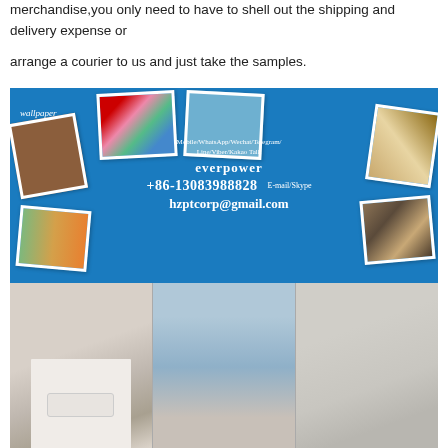merchandise,you only need to have to shell out the shipping and delivery expense or
arrange a courier to us and just take the samples.
[Figure (photo): Blue collage banner showing wallpaper samples, rolls, and room interiors with contact information: Mobile/WhatsApp/Wechat/Telegram/Line/Viber/Kakao Talk, everpower, +86-13083988828, E-mail/Skype, hzptcorp@gmail.com]
[Figure (photo): Three side-by-side interior room photos showing living spaces with wallpaper and furniture]